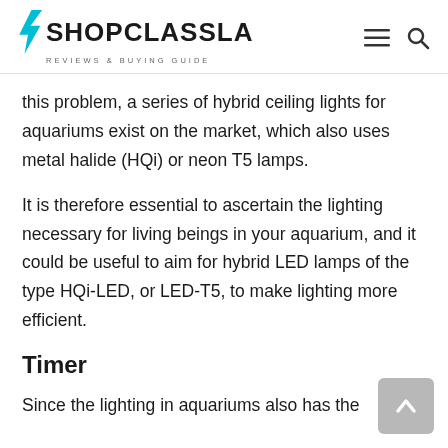SHOPCLASSLA REVIEWS & BUYING GUIDE
this problem, a series of hybrid ceiling lights for aquariums exist on the market, which also uses metal halide (HQi) or neon T5 lamps.
It is therefore essential to ascertain the lighting necessary for living beings in your aquarium, and it could be useful to aim for hybrid LED lamps of the type HQi-LED, or LED-T5, to make lighting more efficient.
Timer
Since the lighting in aquariums also has the